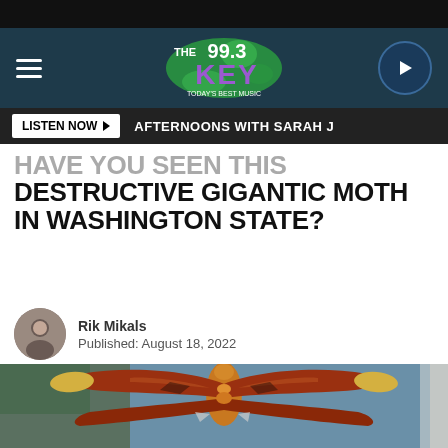The 99.3 Key — Navigation header with hamburger menu and play button
LISTEN NOW ▶  AFTERNOONS WITH SARAH J
HAVE YOU SEEN THIS DESTRUCTIVE GIGANTIC MOTH IN WASHINGTON STATE?
Rik Mikals
Published: August 18, 2022
[Figure (photo): Large Atlas moth (Attacus atlas) photographed spread-winged against a blue exterior wall. The moth has rust-red and brown wings with yellow-tan tips and distinctive eye-like patterns.]